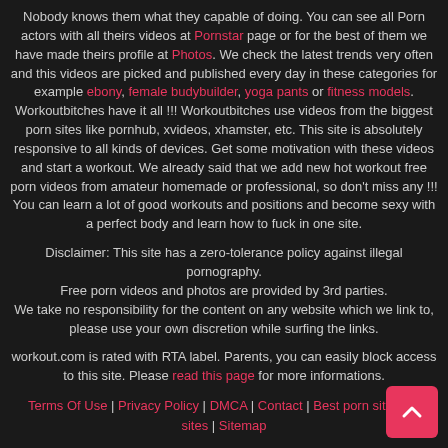Nobody knows them what they capable of doing. You can see all Porn actors with all theirs videos at Pornstar page or for the best of them we have made theirs profile at Photos. We check the latest trends very often and this videos are picked and published every day in these categories for example ebony, female budybuilder, yoga pants or fitness models. Workoutbitches have it all !!! Workoutbitches use videos from the biggest porn sites like pornhub, xvideos, xhamster, etc. This site is absolutely responsive to all kinds of devices. Get some motivation with these videos and start a workout. We already said that we add new hot workout free porn videos from amateur homemade or professional, so don't miss any !!! You can learn a lot of good workouts and positions and become sexy with a perfect body and learn how to fuck in one site.
Disclaimer: This site has a zero-tolerance policy against illegal pornography. Free porn videos and photos are provided by 3rd parties. We take no responsibility for the content on any website which we link to, please use your own discretion while surfing the links.
workout.com is rated with RTA label. Parents, you can easily block access to this site. Please read this page for more informations.
Terms Of Use | Privacy Policy | DMCA | Contact | Best porn sites | Other sites | Sitemap